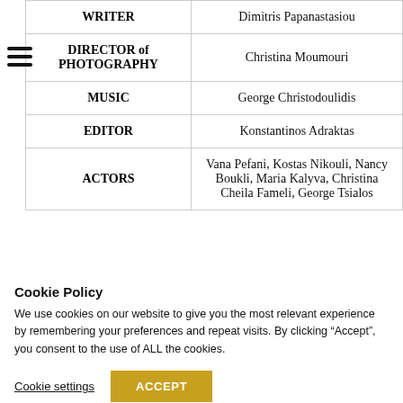| Role | Name |
| --- | --- |
| WRITER | Dimitris Papanastasiou |
| DIRECTOR of PHOTOGRAPHY | Christina Moumouri |
| MUSIC | George Christodoulidis |
| EDITOR | Konstantinos Adraktas |
| ACTORS | Vana Pefani, Kostas Nikouli, Nancy Boukli, Maria Kalyva, Christina Cheila Fameli, George Tsialos |
Cookie Policy
We use cookies on our website to give you the most relevant experience by remembering your preferences and repeat visits. By clicking “Accept”, you consent to the use of ALL the cookies.
Cookie settings | ACCEPT